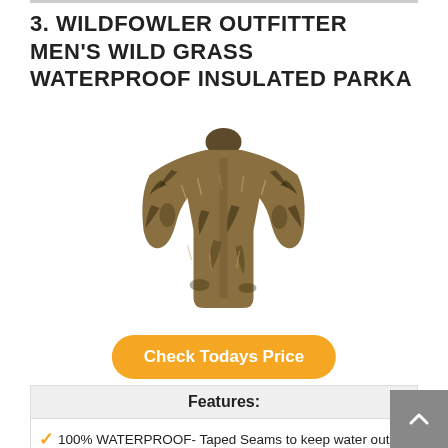3. WILDFOWLER OUTFITTER MEN'S WILD GRASS WATERPROOF INSULATED PARKA
[Figure (photo): Camouflage hunting parka jacket displayed against white background, showing wild grass camo pattern]
Check Todays Price
| Features: |
| --- |
| ✓ 100% WATERPROOF- Taped Seams to keep water out, |
| ✓ QUIET- Soft Tricot Outer Material, great for all types of |
| ✓ WICKING BREATHABLE- great for comfort and |
| ✓ CAMO PATTERNS- Our patterns are the best on the |